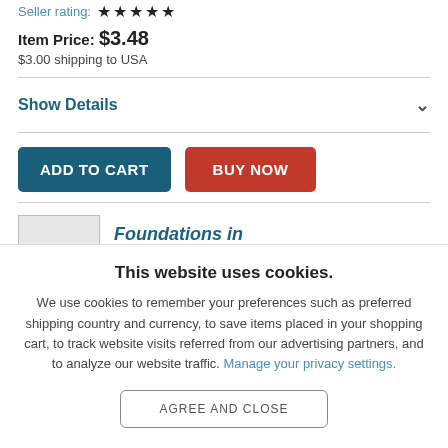Seller rating: ★★★★★
Item Price: $3.48
$3.00 shipping to USA
Show Details
[Figure (other): ADD TO CART button (dark teal) and BUY NOW button (red)]
Foundations in
This website uses cookies.
We use cookies to remember your preferences such as preferred shipping country and currency, to save items placed in your shopping cart, to track website visits referred from our advertising partners, and to analyze our website traffic. Manage your privacy settings.
AGREE AND CLOSE